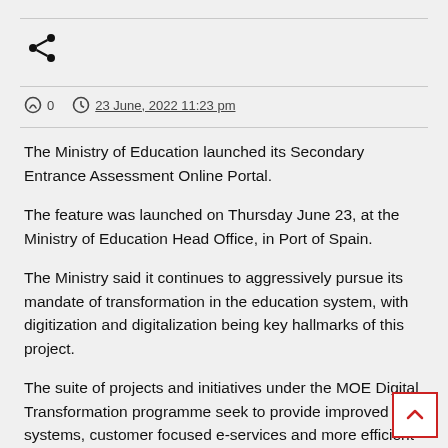[Figure (other): Share icon (social share button)]
0   23 June, 2022 11:23 pm
The Ministry of Education launched its Secondary Entrance Assessment Online Portal.
The feature was launched on Thursday June 23, at the Ministry of Education Head Office, in Port of Spain.
The Ministry said it continues to aggressively pursue its mandate of transformation in the education system, with digitization and digitalization being key hallmarks of this project.
The suite of projects and initiatives under the MOE Digital Transformation programme seek to provide improved systems, customer focused e-services and more efficient operations through student and teacher-focused solutions. The SEA Online